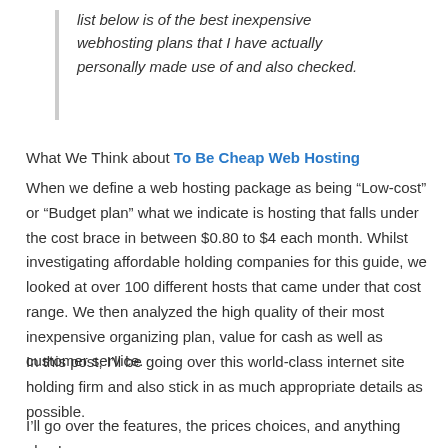list below is of the best inexpensive webhosting plans that I have actually personally made use of and also checked.
What We Think about To Be Cheap Web Hosting
When we define a web hosting package as being “Low-cost” or “Budget plan” what we indicate is hosting that falls under the cost brace in between $0.80 to $4 each month. Whilst investigating affordable holding companies for this guide, we looked at over 100 different hosts that came under that cost range. We then analyzed the high quality of their most inexpensive organizing plan, value for cash as well as customer service.
In this post, I’ll be going over this world-class internet site holding firm and also stick in as much appropriate details as possible.
I’ll go over the features, the prices choices, and anything else I can